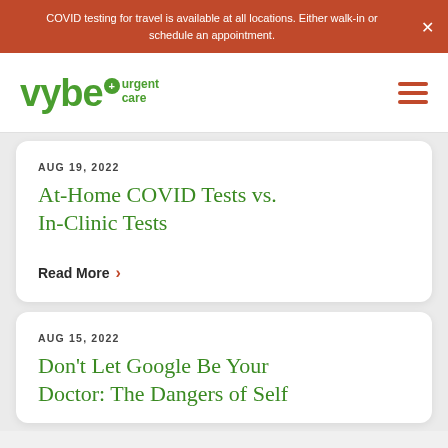COVID testing for travel is available at all locations. Either walk-in or schedule an appointment.
[Figure (logo): vybe urgent care logo with green text and hamburger menu icon]
AUG 19, 2022
At-Home COVID Tests vs. In-Clinic Tests
Read More >
AUG 15, 2022
Don't Let Google Be Your Doctor: The Dangers of Self